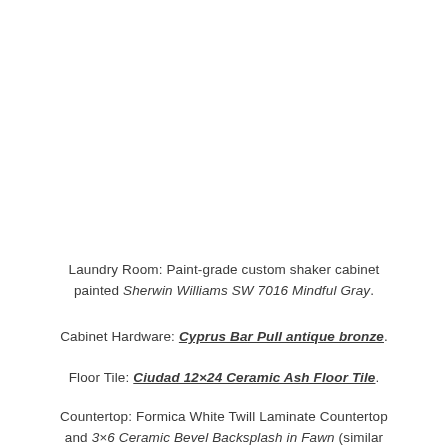Laundry Room: Paint-grade custom shaker cabinet painted Sherwin Williams SW 7016 Mindful Gray.
Cabinet Hardware: Cyprus Bar Pull antique bronze.
Floor Tile: Ciudad 12×24 Ceramic Ash Floor Tile.
Countertop: Formica White Twill Laminate Countertop and 3×6 Ceramic Bevel Backsplash in Fawn (similar